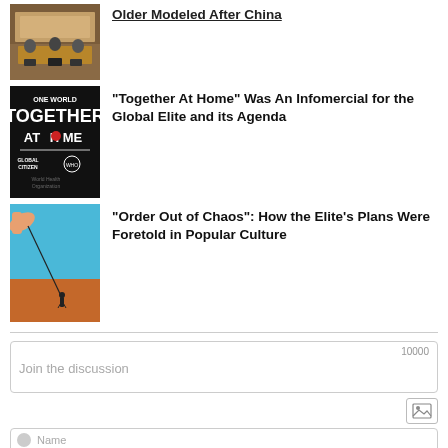[Figure (photo): Thumbnail image of a meeting room with people around a table]
“Together At Home” Was An Infomercial for the Global Elite and its Agenda
[Figure (photo): One World Together At Home logo with Global Citizen and WHO branding]
“Order Out of Chaos”: How the Elite’s Plans Were Foretold in Popular Culture
[Figure (photo): Surreal image of a hand holding a string attached to a small figure standing in a desert landscape]
Join the discussion
10000